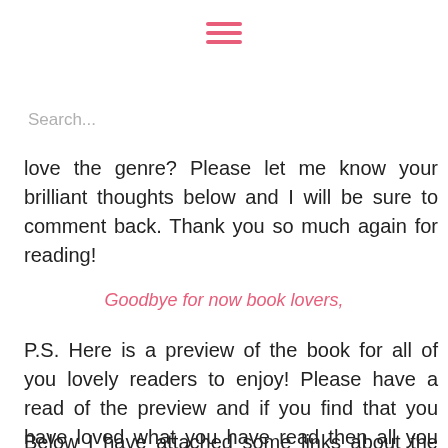[Figure (other): Hamburger menu icon with three pink horizontal lines]
Search...
love the genre? Please let me know your brilliant thoughts below and I will be sure to comment back. Thank you so much again for reading!
Goodbye for now book lovers,
P.S. Here is a preview of the book for all of you lovely readers to enjoy! Please have a read of the preview and if you find that you have loved what you have read then all you need to do is follow the links below!
Below I have attached some links about the author and this wonderful book so if you would like to learn more about the